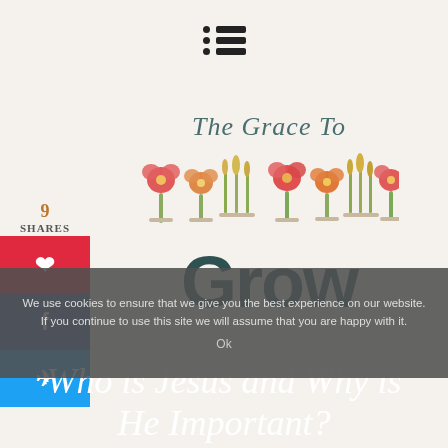Navigation menu icon
[Figure (logo): The Grace To Grow blog logo with illustrated flowers in vases and bold teal 'Grow' text]
9
SHARES
[Figure (infographic): Social share buttons: Pinterest (red), Facebook (blue), Twitter (light blue)]
We use cookies to ensure that we give you the best experience on our website. If you continue to use this site we will assume that you are happy with it.
Ok
Who is Jesus and Why is He Important?